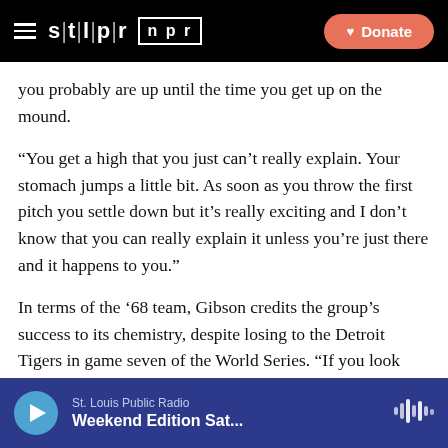STLPR NPR | Donate
you probably are up until the time you get up on the mound.
“You get a high that you just can’t really explain. Your stomach jumps a little bit. As soon as you throw the first pitch you settle down but it’s really exciting and I don’t know that you can really explain it unless you’re just there and it happens to you.”
In terms of the ’68 team, Gibson credits the group’s success to its chemistry, despite losing to the Detroit Tigers in game seven of the World Series. “If you look back at each individual, there are several players off of that ball club that became better individuals than
St. Louis Public Radio | Weekend Edition Sat...